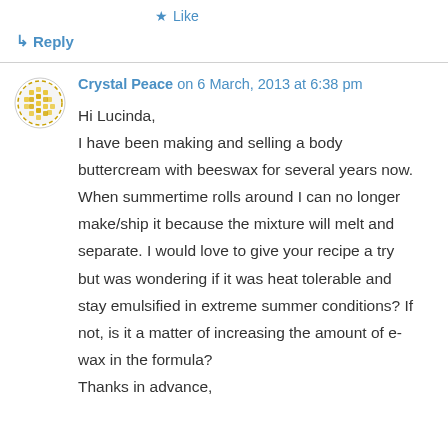★ Like
↳ Reply
Crystal Peace on 6 March, 2013 at 6:38 pm
Hi Lucinda,
I have been making and selling a body buttercream with beeswax for several years now. When summertime rolls around I can no longer make/ship it because the mixture will melt and separate. I would love to give your recipe a try but was wondering if it was heat tolerable and stay emulsified in extreme summer conditions? If not, is it a matter of increasing the amount of e-wax in the formula?
Thanks in advance,